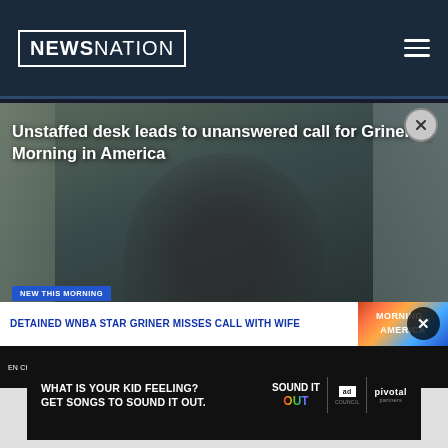NewsNation
[Figure (screenshot): NewsNation video player screenshot showing a woman being interviewed. Lower third chyron reads 'DETAINED WNBA STAR GRINER MISSES CALL WITH WIFE' with 'NEW THIS MORNING' badge. Ticker at bottom reads 'EN CHARGED IN FATAL FIREWORKS EXPLOSION THAT KILLED FOUR PEOPLE NEAR ST. L'. Morning in America logo visible. Video title overlay: 'Unstaffed desk leads to unanswered call for Griners | Morning in America']
Unstaffed desk leads to unanswered call for Griners | Morning in America
[Figure (screenshot): Advertisement banner with black background. Text: 'WHAT IS YOUR KID FEELING? GET SONGS TO SOUND IT OUT.' with 'Sound It Out' logo, Ad Council logo, and Pivotal branding.]